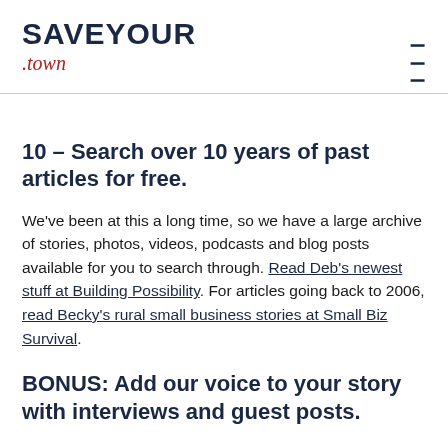SAVEYOUR .town
10 – Search over 10 years of past articles for free.
We've been at this a long time, so we have a large archive of stories, photos, videos, podcasts and blog posts available for you to search through. Read Deb's newest stuff at Building Possibility. For articles going back to 2006, read Becky's rural small business stories at Small Biz Survival.
BONUS: Add our voice to your story with interviews and guest posts.